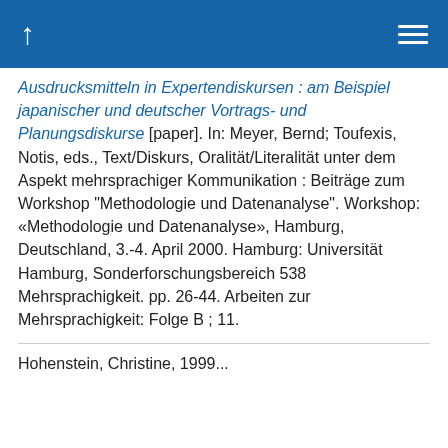↑ ≡
Ausdrucksmitteln in Expertendiskursen : am Beispiel japanischer und deutscher Vortrags- und Planungsdiskurse [paper]. In: Meyer, Bernd; Toufexis, Notis, eds., Text/Diskurs, Oralität/Literalität unter dem Aspekt mehrsprachiger Kommunikation : Beiträge zum Workshop "Methodologie und Datenanalyse". Workshop: «Methodologie und Datenanalyse», Hamburg, Deutschland, 3.-4. April 2000. Hamburg: Universität Hamburg, Sonderforschungsbereich 538 Mehrsprachigkeit. pp. 26-44. Arbeiten zur Mehrsprachigkeit: Folge B ; 11.
Hohenstein, Christine, 1999...